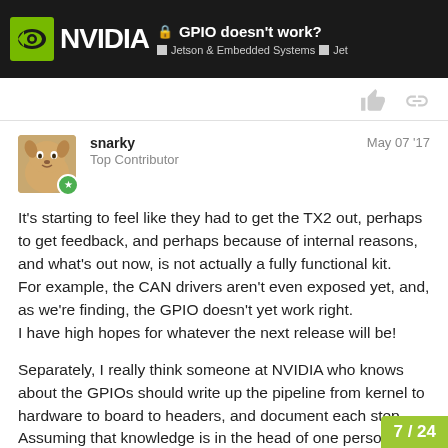GPIO doesn't work? — Jetson & Embedded Systems — Jet
snarky — Top Contributor — May 07 '17
It's starting to feel like they had to get the TX2 out, perhaps to get feedback, and perhaps because of internal reasons, and what's out now, is not actually a fully functional kit.
For example, the CAN drivers aren't even exposed yet, and, as we're finding, the GPIO doesn't yet work right.
I have high hopes for whatever the next release will be!
Separately, I really think someone at NVIDIA who knows about the GPIOs should write up the pipeline from kernel to hardware to board to headers, and document each step. Assuming that knowledge is in the head of one person, and that person knows what an end developer like us would need to know, that shoul…